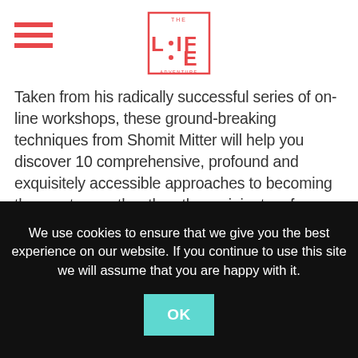[Figure (logo): The Life Adventure logo — red pixelated/grid-style letters L, I, F, E in a square border with 'THE' above and 'ADVENTURE' below]
Taken from his radically successful series of on-line workshops, these ground-breaking techniques from Shomit Mitter will help you discover 10 comprehensive, profound and exquisitely accessible approaches to becoming the creator – rather than the recipient – of your life.
If you have tried and failed to create the life that you really want, it is probably because you have been using the resources of the conscious mind. It is quite natural to approach problems logically and to plan outcomes using common sense.
We use cookies to ensure that we give you the best experience on our website. If you continue to use this site we will assume that you are happy with it.